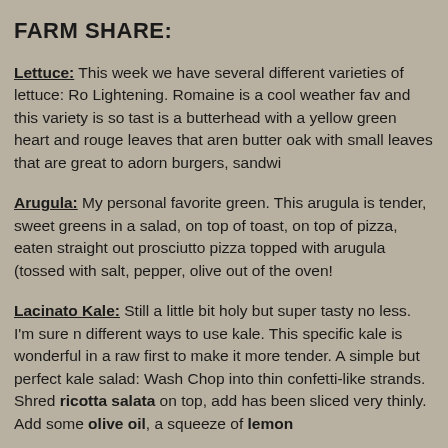FARM SHARE:
Lettuce:  This week we have several different varieties of lettuce: Ro Lightening. Romaine is a cool weather fav and this variety is so tast is a butterhead with a yellow green heart and rouge leaves that aren butter oak with small leaves that are great to adorn burgers, sandwi
Arugula:  My personal favorite green.  This arugula is tender, sweet greens in a salad, on top of toast, on top of pizza, eaten straight out prosciutto pizza topped with arugula (tossed with salt, pepper, olive out of the oven!
Lacinato Kale: Still a little bit holy but super tasty no less. I'm sure n different ways to use kale.  This specific kale is wonderful in a raw first to make it more tender.  A simple but perfect kale salad: Wash Chop into thin confetti-like strands. Shred ricotta salata on top, add has been sliced very thinly. Add some olive oil, a squeeze of lemon